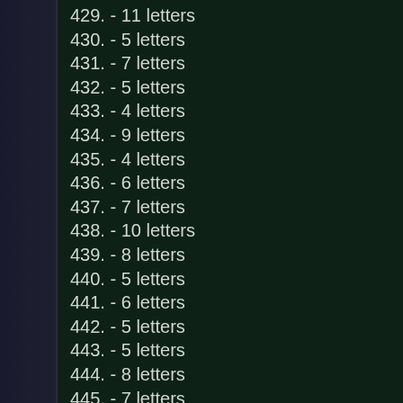429. - 11 letters
430. - 5 letters
431. - 7 letters
432. - 5 letters
433. - 4 letters
434. - 9 letters
435. - 4 letters
436. - 6 letters
437. - 7 letters
438. - 10 letters
439. - 8 letters
440. - 5 letters
441. - 6 letters
442. - 5 letters
443. - 5 letters
444. - 8 letters
445. - 7 letters
446. - 9 letters
447. - 12 letters
448. - 7 letters